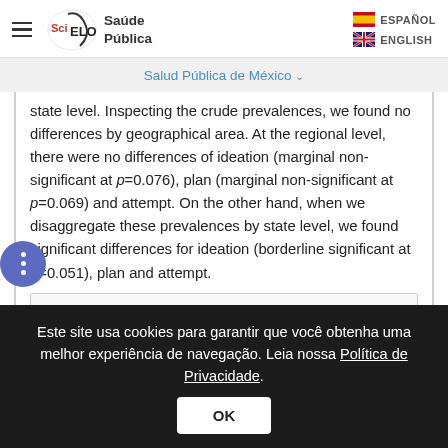SciELO Saúde Pública — ESPAÑOL / ENGLISH navigation
Salud Pública de México
state level. Inspecting the crude prevalences, we found no differences by geographical area. At the regional level, there were no differences of ideation (marginal non-significant at p=0.076), plan (marginal non-significant at p=0.069) and attempt. On the other hand, when we disaggregate these prevalences by state level, we found significant differences for ideation (borderline significant at p=0.051), plan and attempt.
Este site usa cookies para garantir que você obtenha uma melhor experiência de navegação. Leia nossa Política de Privacidade.